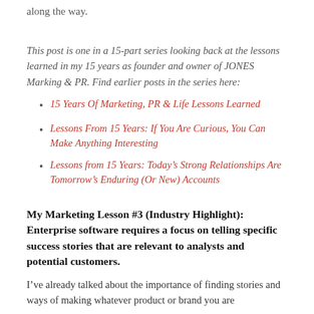along the way.
This post is one in a 15-part series looking back at the lessons learned in my 15 years as founder and owner of JONES Marking & PR. Find earlier posts in the series here:
15 Years Of Marketing, PR & Life Lessons Learned
Lessons From 15 Years: If You Are Curious, You Can Make Anything Interesting
Lessons from 15 Years: Today’s Strong Relationships Are Tomorrow’s Enduring (Or New) Accounts
My Marketing Lesson #3 (Industry Highlight): Enterprise software requires a focus on telling specific success stories that are relevant to analysts and potential customers.
I’ve already talked about the importance of finding stories and ways of making whatever product or brand you are